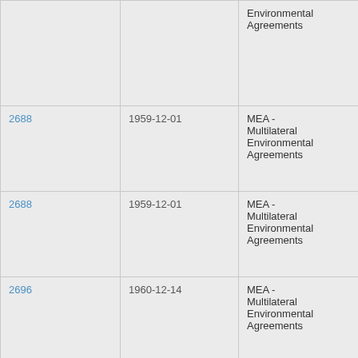| ID | Date | Category |
| --- | --- | --- |
|  |  | Environmental Agreements |
| 2688 | 1959-12-01 | MEA - Multilateral Environmental Agreements |
| 2688 | 1959-12-01 | MEA - Multilateral Environmental Agreements |
| 2696 | 1960-12-14 | MEA - Multilateral Environmental Agreements |
| 2702 | 1961-12-02 | MEA - Multilateral Environmental Agreements |